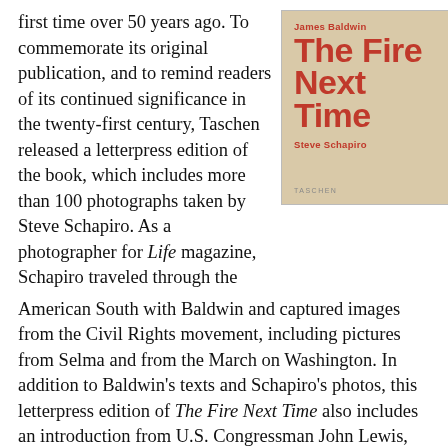first time over 50 years ago. To commemorate its original publication, and to remind readers of its continued significance in the twenty-first century, Taschen released a letterpress edition of the book, which includes more than 100 photographs taken by Steve Schapiro. As a photographer for Life magazine, Schapiro traveled through the American South with Baldwin and captured images from the Civil Rights movement, including pictures from Selma and from the March on Washington. In addition to Baldwin's texts and Schapiro's photos, this letterpress edition of The Fire Next Time also includes an introduction from U.S. Congressman John Lewis, who marched from Selma to Montgomery in 1965 while serving as Chairman of the Student Nonviolent Coordinating Committee (SNCC). The edition also contains
[Figure (photo): Book cover of 'The Fire Next Time' by James Baldwin with photographs by Steve Schapiro, published by Taschen. The cover has a tan/beige background with large bold red text displaying the title and author names.]